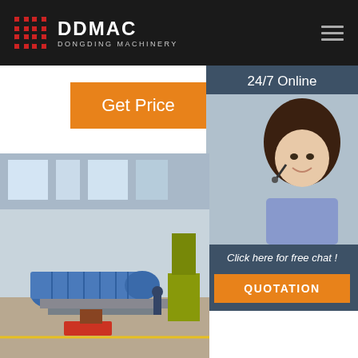[Figure (logo): DDMAC Dongding Machinery logo with red checkered icon and white text on black header bar]
Get Price
24/7 Online
[Figure (photo): Customer service representative woman with headset smiling]
Click here for free chat !
QUOTATION
[Figure (photo): Industrial factory floor with large blue rotary drum dryer machinery on assembly floor]